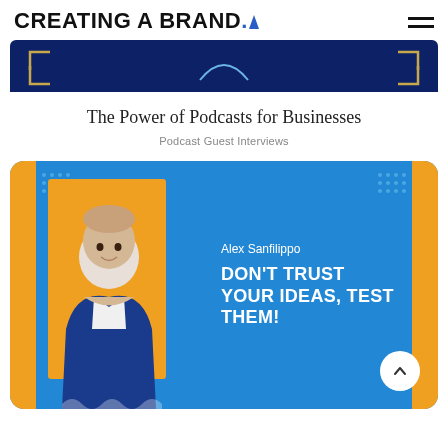CREATING A BRAND.
[Figure (screenshot): Top banner strip showing partial podcast thumbnail with dark navy blue background and decorative corner brackets]
The Power of Podcasts for Businesses
Podcast Guest Interviews
[Figure (illustration): Podcast episode card with blue background and orange accents. Features Alex Sanfilippo in a blue blazer over an orange rectangle. Text reads: Alex Sanfilippo DON'T TRUST YOUR IDEAS, TEST THEM! Decorative dot grids in corners. White circular scroll-up button in bottom right.]